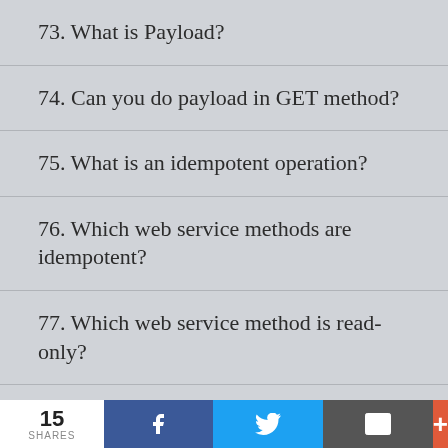73. What is Payload?
74. Can you do payload in GET method?
75. What is an idempotent operation?
76. Which web service methods are idempotent?
77. Which web service method is read-only?
78. What is the HTTP OPTIONS method?
15 SHARES | Facebook | Twitter | Email | +